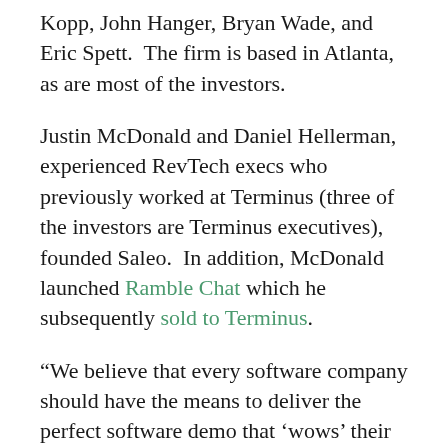Kopp, John Hanger, Bryan Wade, and Eric Spett.  The firm is based in Atlanta, as are most of the investors.
Justin McDonald and Daniel Hellerman, experienced RevTech execs who previously worked at Terminus (three of the investors are Terminus executives), founded Saleo.  In addition, McDonald launched Ramble Chat which he subsequently sold to Terminus.
“We believe that every software company should have the means to deliver the perfect software demo that ‘wows’ their buyers every time.  No more missing data, hours of prep time, or sub-par generic demos,” posted McDonald on LinkedIn.